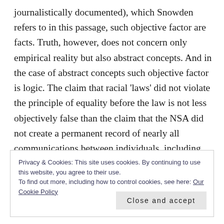journalistically documented), which Snowden refers to in this passage, such objective factor are facts. Truth, however, does not concern only empirical reality but also abstract concepts. And in the case of abstract concepts such objective factor is logic. The claim that racial 'laws' did not violate the principle of equality before the law is not less objectively false than the claim that the NSA did not create a permanent record of nearly all communications between individuals, including American citizens.
Privacy & Cookies: This site uses cookies. By continuing to use this website, you agree to their use.
To find out more, including how to control cookies, see here: Our Cookie Policy
Close and accept